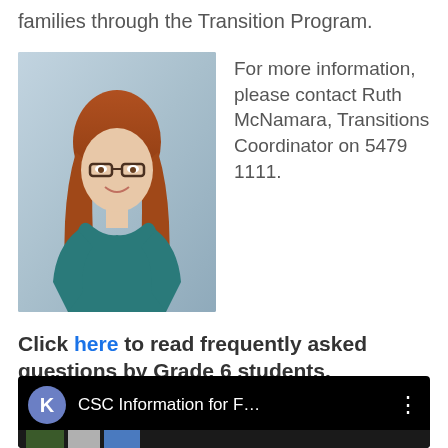families through the Transition Program.
[Figure (photo): Headshot of a woman with long red hair, wearing glasses and a teal top, smiling, against a soft blue-grey studio background.]
For more information, please contact Ruth McNamara, Transitions Coordinator on 5479 1111.
Click here to read frequently asked questions by Grade 6 students.
[Figure (screenshot): Video bar with black background showing a purple circle avatar with letter K, title 'CSC Information for F…', and a three-dot menu icon, with a thumbnail strip below.]